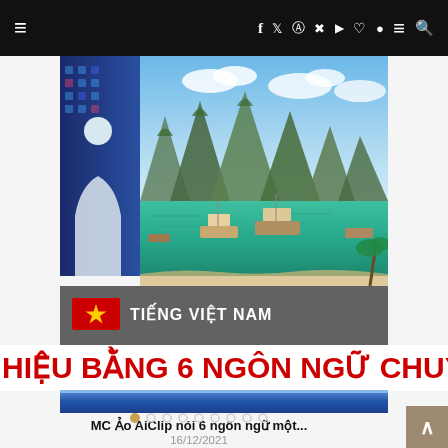Navigation bar with menu icon, social media icons (f, twitter, instagram, pinterest, youtube, heart, snapchat), hamburger, search
[Figure (screenshot): Screenshot/thumbnail of a news video showing Ha Long Bay scenery with karst mountains, turquoise water, boats, and a red Vietnamese flag with text overlay: TIẾNG VIỆT NAM. Bottom strip shows: HIỆU BẰNG 6 NGÔN NGỮ CHUYÊN NGHIỆ (cut off), blue decorative bar.]
MC Ảo AiClip nói 6 ngôn ngữ một...
16/12/2021